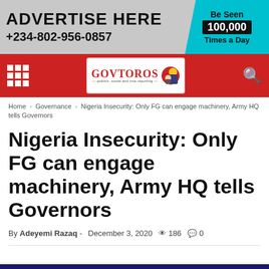[Figure (infographic): Advertisement banner: 'ADVERTISE HERE +234-802-956-0857' on grey background, with cyan panel on right reading 'Be Seen 100,000 Times a Day']
[Figure (logo): GovToros news website navigation bar with red background, grid menu icon, logo, and search icon]
Home › Governance › Nigeria Insecurity: Only FG can engage machinery, Army HQ tells Governors
Nigeria Insecurity: Only FG can engage machinery, Army HQ tells Governors
By Adeyemi Razaq - December 3, 2020   186   0